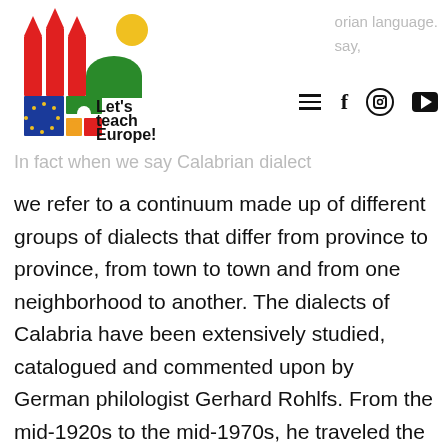[Figure (logo): Let's teach Europe! logo with colorful castle/building illustration and text]
orian language.
say,
In fact when we say Calabrian dialect we refer to a continuum made up of different groups of dialects that differ from province to province, from town to town and from one neighborhood to another. The dialects of Calabria have been extensively studied, catalogued and commented upon by German philologist Gerhard Rohlfs. From the mid-1920s to the mid-1970s, he traveled the region extensively and assembled a very extensive, multi-volume dictionary